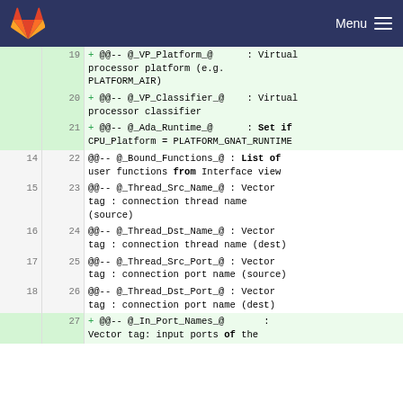Menu
| old | new | code |
| --- | --- | --- |
|  | 19 | + @@-- @_VP_Platform_@      : Virtual processor platform (e.g. PLATFORM_AIR) |
|  | 20 | + @@-- @_VP_Classifier_@    : Virtual processor classifier |
|  | 21 | + @@-- @_Ada_Runtime_@      : Set if CPU_Platform = PLATFORM_GNAT_RUNTIME |
| 14 | 22 | @@-- @_Bound_Functions_@ : List of user functions from Interface view |
| 15 | 23 | @@-- @_Thread_Src_Name_@ : Vector tag : connection thread name (source) |
| 16 | 24 | @@-- @_Thread_Dst_Name_@ : Vector tag : connection thread name (dest) |
| 17 | 25 | @@-- @_Thread_Src_Port_@ : Vector tag : connection port name (source) |
| 18 | 26 | @@-- @_Thread_Dst_Port_@ : Vector tag : connection port name (dest) |
|  | 27 | + @@-- @_In_Port_Names_@       : Vector tag: input ports of the |